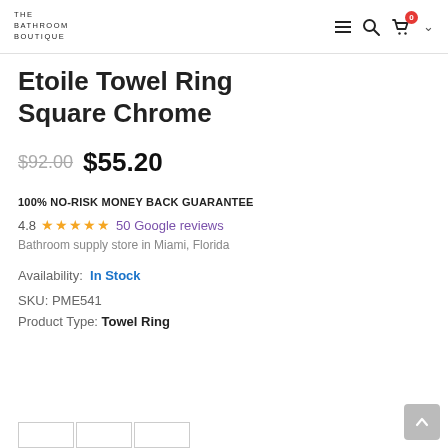THE BATHROOM BOUTIQUE
Etoile Towel Ring Square Chrome
$92.00 $55.20
100% NO-RISK MONEY BACK GUARANTEE
4.8 ★★★★★ 50 Google reviews
Bathroom supply store in Miami, Florida
Availability: In Stock
SKU: PME541
Product Type: Towel Ring